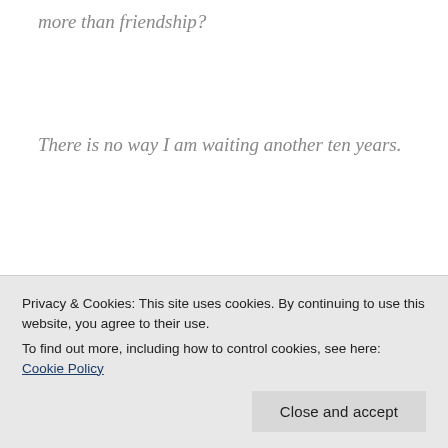more than friendship?
There is no way I am waiting another ten years.
She remembered that text he sent her when they were exchanging her itinerary. And then earlier in the day when he visited her, he kept insisting that
Privacy & Cookies: This site uses cookies. By continuing to use this website, you agree to their use. To find out more, including how to control cookies, see here: Cookie Policy
Close and accept
alone...